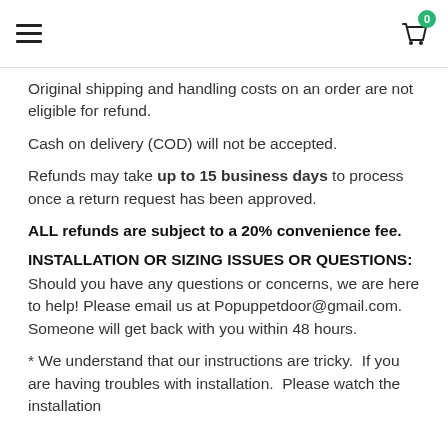≡  [cart icon with badge 0]
Original shipping and handling costs on an order are not eligible for refund.
Cash on delivery (COD) will not be accepted.
Refunds may take up to 15 business days to process once a return request has been approved.
ALL refunds are subject to a 20% convenience fee.
INSTALLATION OR SIZING ISSUES OR QUESTIONS:
Should you have any questions or concerns, we are here to help! Please email us at Popuppetdoor@gmail.com.  Someone will get back with you within 48 hours.
* We understand that our instructions are tricky.  If you are having troubles with installation.  Please watch the installation